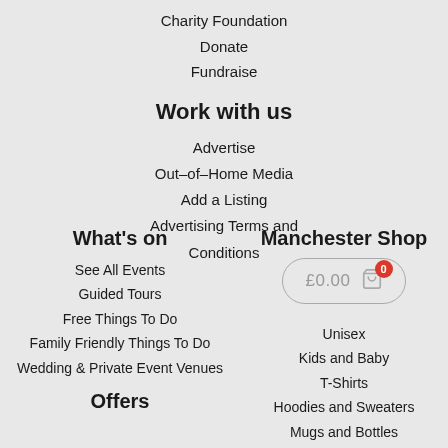Charity Foundation
Donate
Fundraise
Work with us
Advertise
Out-of-Home Media
Add a Listing
Advertising Terms and Conditions
What's on
Manchester Shop
See All Events
Guided Tours
Free Things To Do
Family Friendly Things To Do
Wedding & Private Event Venues
Offers
[Figure (other): Shopping cart button showing £0.00 with a red badge showing 0 items]
Unisex
Kids and Baby
T-Shirts
Hoodies and Sweaters
Mugs and Bottles